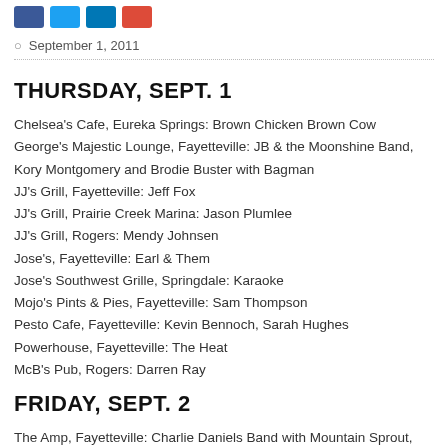Social share buttons (Facebook, Twitter, LinkedIn, Google+)
September 1, 2011
THURSDAY, SEPT. 1
Chelsea's Cafe, Eureka Springs: Brown Chicken Brown Cow
George's Majestic Lounge, Fayetteville: JB & the Moonshine Band, Kory Montgomery and Brodie Buster with Bagman
JJ's Grill, Fayetteville: Jeff Fox
JJ's Grill, Prairie Creek Marina: Jason Plumlee
JJ's Grill, Rogers: Mendy Johnsen
Jose's, Fayetteville: Earl & Them
Jose's Southwest Grille, Springdale: Karaoke
Mojo's Pints & Pies, Fayetteville: Sam Thompson
Pesto Cafe, Fayetteville: Kevin Bennoch, Sarah Hughes
Powerhouse, Fayetteville: The Heat
McB's Pub, Rogers: Darren Ray
FRIDAY, SEPT. 2
The Amp, Fayetteville: Charlie Daniels Band with Mountain Sprout, Amanda Cramer